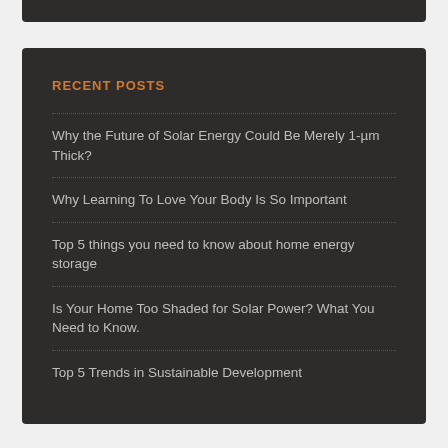RECENT POSTS
Why the Future of Solar Energy Could Be Merely 1-µm Thick?
Why Learning To Love Your Body Is So Important
Top 5 things you need to know about home energy storage
Is Your Home Too Shaded for Solar Power? What You Need to Know.
Top 5 Trends in Sustainable Development